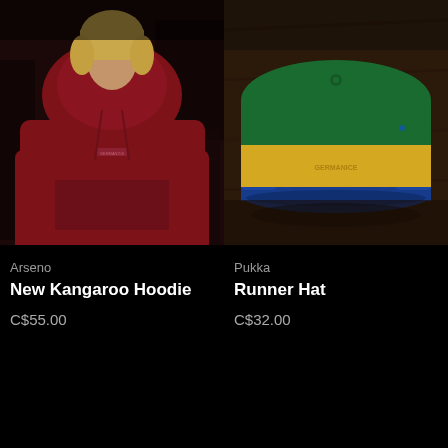[Figure (photo): Person wearing a dark red/maroon kangaroo hoodie with a small logo on the chest, in a cafe setting]
[Figure (photo): Pukka five-panel runner hat in green, yellow, and blue colorblock with a logo on the front, on a wooden surface]
Arseno
New Kangaroo Hoodie
C$55.00
Pukka
Runner Hat
C$32.00